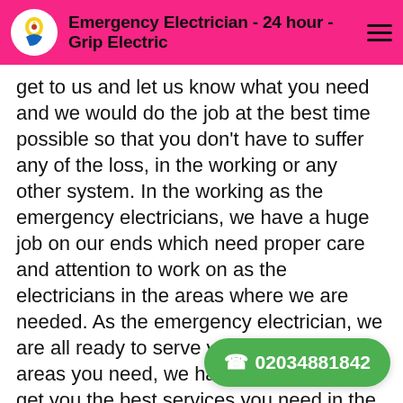Emergency Electrician - 24 hour - Grip Electric
get to us and let us know what you need and we would do the job at the best time possible so that you don't have to suffer any of the loss, in the working or any other system. In the working as the emergency electricians, we have a huge job on our ends which need proper care and attention to work on as the electricians in the areas where we are needed. As the emergency electrician, we are all ready to serve you in the working areas you need, we have been trying to get you the best services you need in the south west and other areas where our services are in demand. Well as the emergency electricians, our sole purpose is to provide you comfort and local emergency services provider and to
02034881842